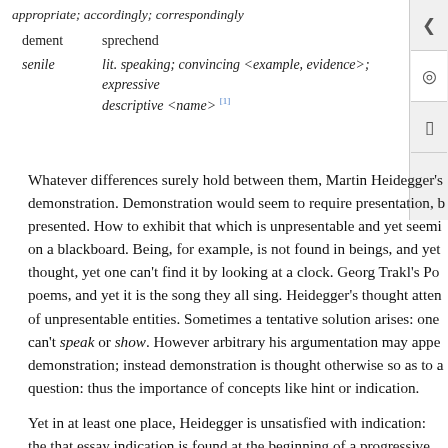appropriate; accordingly; correspondingly
dement   sprechend
senile   lit. speaking; convincing <example, evidence>; expressive descriptive <name> [1]
Whatever differences surely hold between them, Martin Heidegger's demonstration. Demonstration would seem to require presentation, b presented. How to exhibit that which is unpresentable and yet seemi on a blackboard. Being, for example, is not found in beings, and yet thought, yet one can't find it by looking at a clock. Georg Trakl's Po poems, and yet it is the song they all sing. Heidegger's thought atten of unpresentable entities. Sometimes a tentative solution arises: one can't speak or show. However arbitrary his argumentation may appe demonstration; instead demonstration is thought otherwise so as to a question: thus the importance of concepts like hint or indication.
Yet in at least one place, Heidegger is unsatisfied with indication: the that essay indication is found at the beginning of a progressive series indication → attention → questioning); these relations correspond